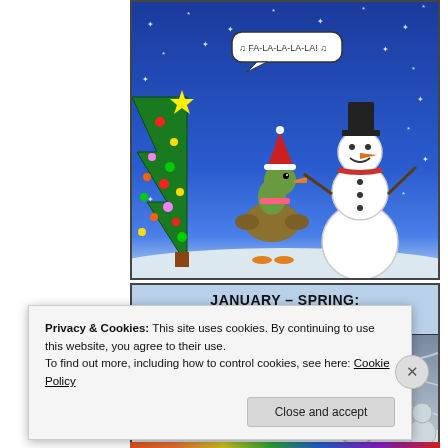[Figure (illustration): Comic panel showing a duck in a Santa hat singing 'FA-LA-LA-LA-LA!' next to a decorated Christmas tree and a smiling snowman against a blue snowy night background]
[Figure (illustration): Comic panel with header 'JANUARY-SPRING: A COLD, GRAY, BUCKET OF SUCK.' showing a miserable duck in winter wind next to a disheveled snowman, with speech bubble saying 'F-F-F-FF-F..' against a gray cold background]
Privacy & Cookies: This site uses cookies. By continuing to use this website, you agree to their use.
To find out more, including how to control cookies, see here: Cookie Policy
Close and accept